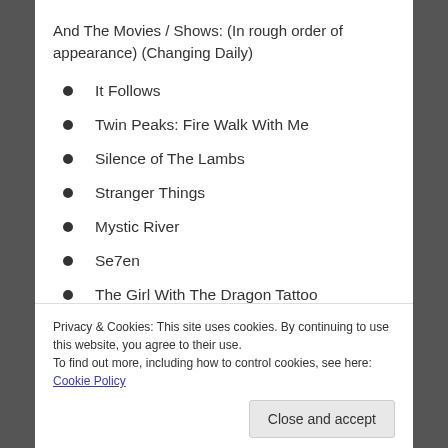And The Movies / Shows: (In rough order of appearance) (Changing Daily)
It Follows
Twin Peaks: Fire Walk With Me
Silence of The Lambs
Stranger Things
Mystic River
Se7en
The Girl With The Dragon Tattoo
Privacy & Cookies: This site uses cookies. By continuing to use this website, you agree to their use. To find out more, including how to control cookies, see here: Cookie Policy
Scream 4